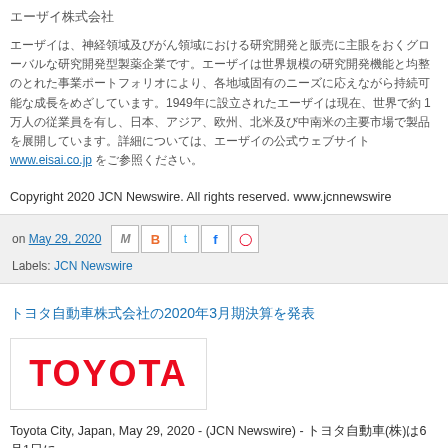エーザイ株式会社
エーザイは、神経領域及びがん領域における研究開発と販売に主眼をおくグローバルな研究開発型製薬企業です。エーザイは世界規模の研究開発機能と均整のとれた事業ポートフォリオにより、各地域固有のニーズに応えながら持続可能な成長をめざしています。1949年に設立されたエーザイは現在、世界で約１万人の従業員を有し、日本、アジア、欧州、北米及び中南米の主要市場で製品を展開しています。詳細については、エーザイの公式ウェブサイトwww.eisai.co.jp をご参照ください。
Copyright 2020 JCN Newswire. All rights reserved. www.jcnnewswire.com
on May 29, 2020
Labels: JCN Newswire
トヨタ自動車株式会社の2020年3月期決算を発表
[Figure (logo): Toyota logo in red text on white background]
Toyota City, Japan, May 29, 2020 - (JCN Newswire) - トヨタ自動車(株)は6月1日に2020年3月期の決算を発表しました。
詳細については下記URLをご参照ください。